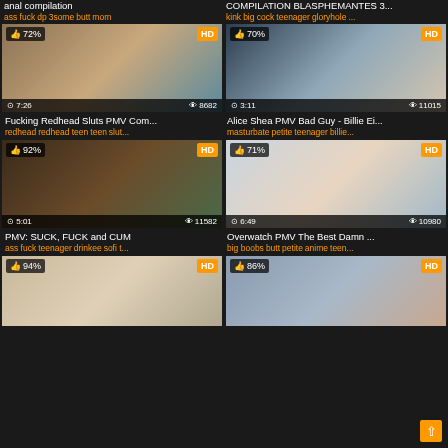anal compilation
ass fuck dp 3some butt mom
COMPILATION BLASPHEMANTES 3...
kink big cock teenager gloryhole ...
[Figure (photo): Video thumbnail - redhead content, 72% rating, HD, 7:26 duration, 8682 views]
Fucking Redhead Sluts PMV Com...
redhead redhead teen teen slut...
[Figure (photo): Video thumbnail - woman with glasses, 70% rating, HD, 3:11 duration, 11015 views]
Alice Shea PMV Bad Guy - Billie Ei...
masturbate petite teenager billie...
[Figure (photo): Video thumbnail - dark haired woman, 92% rating, HD, 5:01 duration, 11582 views]
PMV: SUCK, FUCK and CUM
ass fuck teenager drinkee sofi t...
[Figure (photo): Video thumbnail - animated character, 71% rating, HD, 6:49 duration, 10980 views]
Overwatch PMV The Best Damn ...
big boobs butt petite anime teen...
[Figure (photo): Video thumbnail - 94% rating, HD]
[Figure (photo): Video thumbnail - 86% rating, HD]